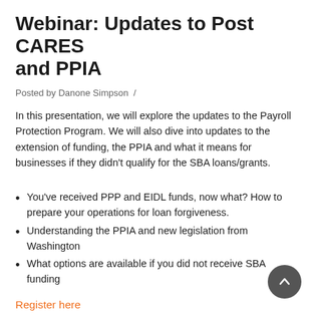Webinar: Updates to Post CARES and PPIA
Posted by Danone Simpson /
In this presentation, we will explore the updates to the Payroll Protection Program. We will also dive into updates to the extension of funding, the PPIA and what it means for businesses if they didn't qualify for the SBA loans/grants.
You've received PPP and EIDL funds, now what? How to prepare your operations for loan forgiveness.
Understanding the PPIA and new legislation from Washington
What options are available if you did not receive SBA funding
Register here